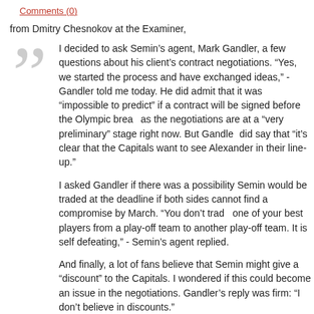Comments (0)
from Dmitry Chesnokov at the Examiner,
I decided to ask Semin’s agent, Mark Gandler, a few questions about his client’s contract negotiations. “Yes, we started the process and have exchanged ideas,” - Gandler told me today. He did admit that it was “impossible to predict” if a contract will be signed before the Olympic break as the negotiations are at a “very preliminary” stage right now. But Gandler did say that “it’s clear that the Capitals want to see Alexander in their line-up.”

I asked Gandler if there was a possibility Semin would be traded at the deadline if both sides cannot find a compromise by March. “You don’t trade one of your best players from a play-off team to another play-off team. It is self defeating,” - Semin’s agent replied.

And finally, a lot of fans believe that Semin might give a “discount” to the Capitals. I wondered if this could become an issue in the negotiations. Gandler’s reply was firm: “I don’t believe in discounts.”
more
Filed in: NHL Teams, Washington Capitals, | KK Hockey | Permalink
Tags: alexander+semin